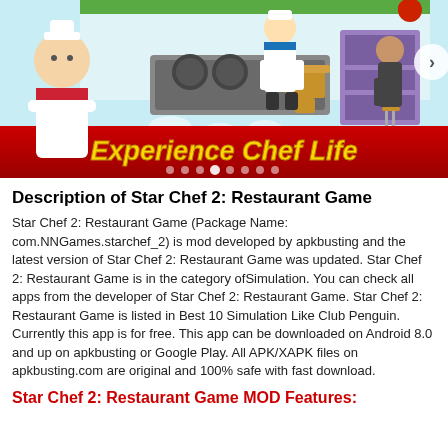[Figure (screenshot): Game banner screenshot showing Star Chef 2 Restaurant Game with a chef character on the left, kitchen scene in the center, another character on the right, and a red bar at the bottom with 'Experience Chef Life' text in gold italic font with navigation dots and right arrow.]
Description of Star Chef 2: Restaurant Game
Star Chef 2: Restaurant Game (Package Name: com.NNGames.starchef_2) is mod developed by apkbusting and the latest version of Star Chef 2: Restaurant Game was updated. Star Chef 2: Restaurant Game is in the category ofSimulation. You can check all apps from the developer of Star Chef 2: Restaurant Game. Star Chef 2: Restaurant Game is listed in Best 10 Simulation Like Club Penguin. Currently this app is for free. This app can be downloaded on Android 8.0 and up on apkbusting or Google Play. All APK/XAPK files on apkbusting.com are original and 100% safe with fast download.
Star Chef 2: Restaurant Game MOD Features: